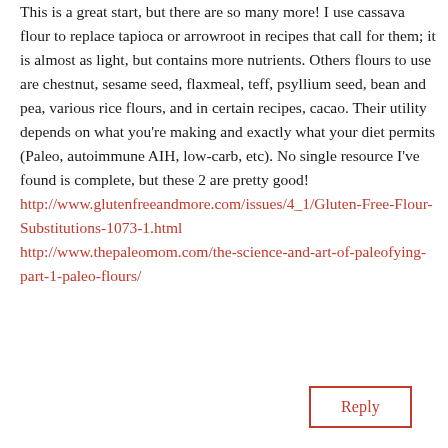This is a great start, but there are so many more! I use cassava flour to replace tapioca or arrowroot in recipes that call for them; it is almost as light, but contains more nutrients. Others flours to use are chestnut, sesame seed, flaxmeal, teff, psyllium seed, bean and pea, various rice flours, and in certain recipes, cacao. Their utility depends on what you're making and exactly what your diet permits (Paleo, autoimmune AIH, low-carb, etc). No single resource I've found is complete, but these 2 are pretty good! http://www.glutenfreeandmore.com/issues/4_1/Gluten-Free-Flour-Substitutions-1073-1.html http://www.thepaleomom.com/the-science-and-art-of-paleofying-part-1-paleo-flours/
Reply